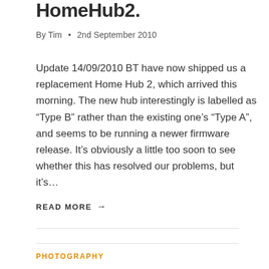HomeHub2.
By Tim  •  2nd September 2010
Update 14/09/2010 BT have now shipped us a replacement Home Hub 2, which arrived this morning. The new hub interestingly is labelled as “Type B” rather than the existing one’s “Type A”, and seems to be running a newer firmware release. It’s obviously a little too soon to see whether this has resolved our problems, but it’s…
READ MORE →
PHOTOGRAPHY